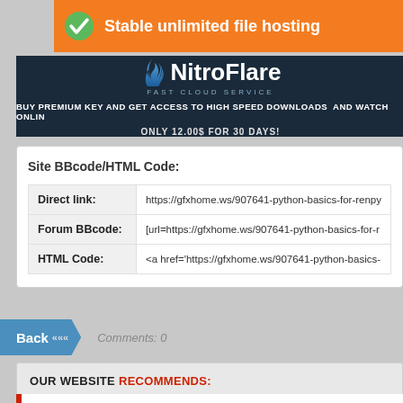[Figure (screenshot): Orange banner with check icon: 'Stable unlimited file hosting']
[Figure (screenshot): NitroFlare dark blue banner with logo and promotional text: 'BUY PREMIUM KEY AND GET ACCESS TO HIGH SPEED DOWNLOADS AND WATCH ONLINE' and 'ONLY 12.00$ FOR 30 DAYS!']
Site BBcode/HTML Code:
| Direct link: | https://gfxhome.ws/907641-python-basics-for-renpy... |
| Forum BBcode: | [url=https://gfxhome.ws/907641-python-basics-for-r... |
| HTML Code: | <a href='https://gfxhome.ws/907641-python-basics-... |
Back <<<< Comments: 0
OUR WEBSITE RECOMMENDS: